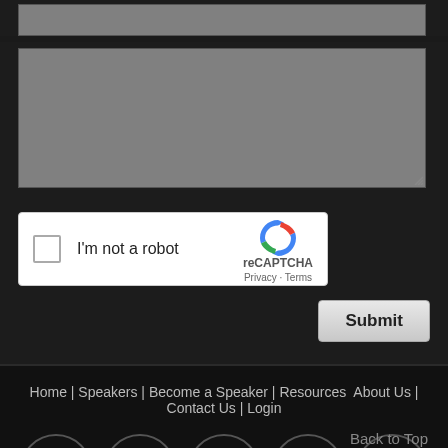[Figure (screenshot): Form input field (text input box, gray background)]
[Figure (screenshot): Form textarea field (multi-line text input, gray background with resize handle)]
[Figure (screenshot): reCAPTCHA widget with checkbox and 'I'm not a robot' text, reCAPTCHA logo]
[Figure (screenshot): Submit button]
Home | Speakers | Become a Speaker | Resources  About Us | Contact Us | Login
[Figure (screenshot): Social media icons in circles: facebook, twitter, google+, linkedin, youtube; Back to Top link]